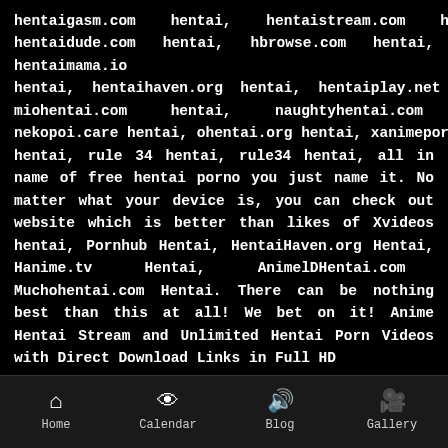hentaigasm.com hentai, hentaistream.com hentai, hentaidude.com hentai, hbrowse.com hentai, hentaimama.io hentai, hentaihaven.org hentai, hentaiplay.net hentai, miohentai.com hentai, naughtyhentai.com hentai, nekopoi.care hentai, ohentai.org hentai, xanimeporn.com hentai, rule 34 hentai, rule34 hentai, all in name of free hentai porno you just name it. No matter what your device is, you can check out website which is better than likes of Xvideos hentai, Pornhub Hentai, HentaiHaven.org Hentai, Hanime.tv Hentai, AnimelDHentai.com hentai, Muchohentai.com Hentai. There can be nothing best than this at all! We bet on it! Anime Hentai Stream and Unlimited Hentai Porn Videos with Direct Download Links in Full HD
Home | Calendar | Blog | Gallery